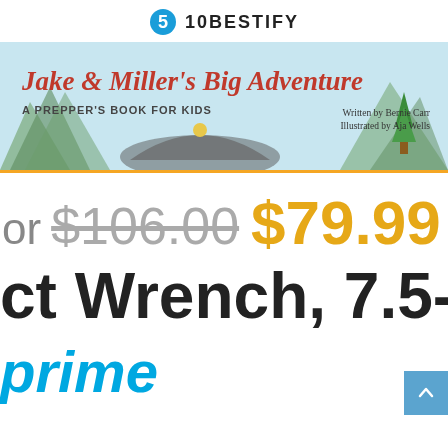10BESTIFY
[Figure (illustration): Book cover: Jake & Miller's Big Adventure - A Prepper's Book for Kids. Written by Bernie Carr, Illustrated by Aja Wells. Light blue background with mountains and trees illustration.]
or $106.00 $79.99
ct Wrench, 7.5-A
prime